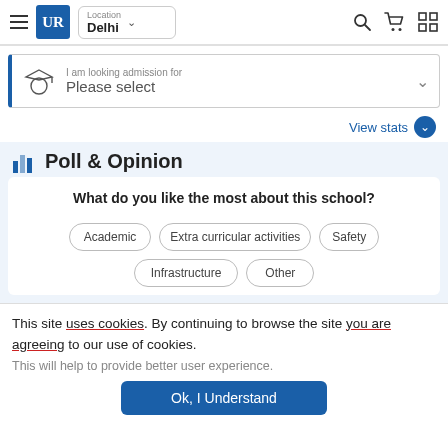Urban Roots | Location: Delhi
I am looking admission for
Please select
View stats
Poll & Opinion
What do you like the most about this school?
Academic
Extra curricular activities
Safety
Infrastructure
Other
This site uses cookies. By continuing to browse the site you are agreeing to our use of cookies.
This will help to provide better user experience.
Ok, I Understand